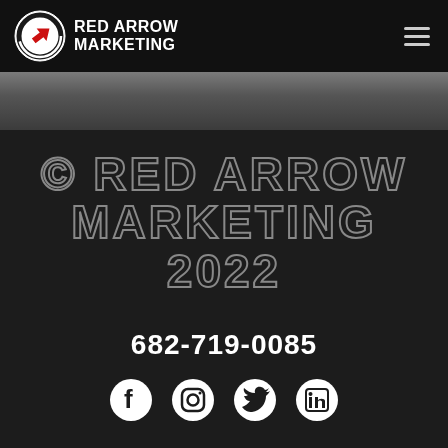[Figure (logo): Red Arrow Marketing logo with circular arrow icon and white text]
[Figure (photo): Dark photo strip across the page]
© RED ARROW MARKETING 2022
682-719-0085
[Figure (infographic): Social media icons: Facebook, Instagram, Twitter, LinkedIn]
6421 Camp Bowie Blvd. Suite 306, Fort Worth, TX 76116